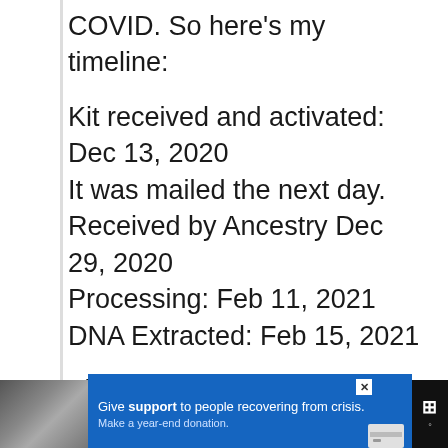COVID. So here's my timeline:
Kit received and activated: Dec 13, 2020
It was mailed the next day.
Received by Ancestry Dec 29, 2020
Processing: Feb 11, 2021
DNA Extracted: Feb 15, 2021
Then nothing. On May 10/11 (can't remember exactly when) I chatted with their customer
[Figure (other): Advertisement banner at bottom: dark background with photo of hands clasped together on left, blue panel with text 'Give support to people recovering from crisis. Make a year-end donation.' and credit card icon, close button (X), and logo on right.]